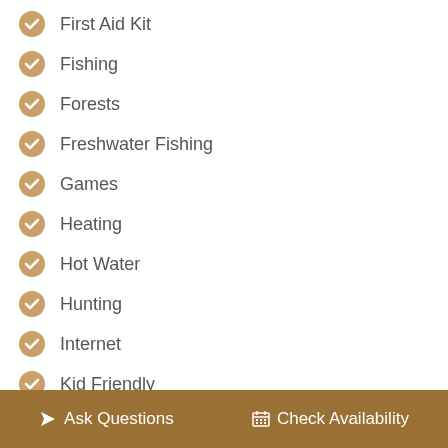First Aid Kit
Fishing
Forests
Freshwater Fishing
Games
Heating
Hot Water
Hunting
Internet
Kid Friendly
Kitchen
Laptop Friendly
Linens Provided
Ask Questions   Check Availability